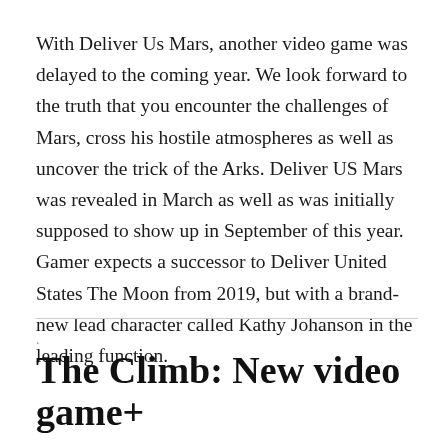With Deliver Us Mars, another video game was delayed to the coming year. We look forward to the truth that you encounter the challenges of Mars, cross his hostile atmospheres as well as uncover the trick of the Arks. Deliver US Mars was revealed in March as well as was initially supposed to show up in September of this year. Gamer expects a successor to Deliver United States The Moon from 2019, but with a brand-new lead character called Kathy Johanson in the leading function.
The Climb: New video game+